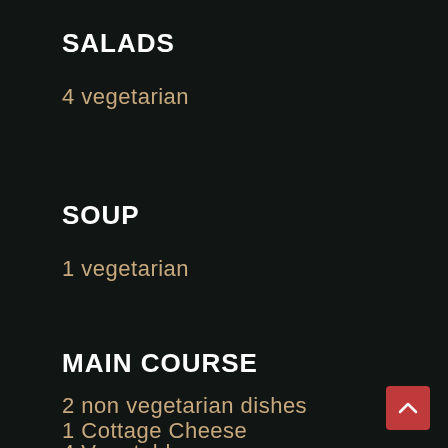SALADS
4 vegetarian
SOUP
1 vegetarian
MAIN COURSE
2 non vegetarian dishes
1 Cottage Cheese
4 Vegetables